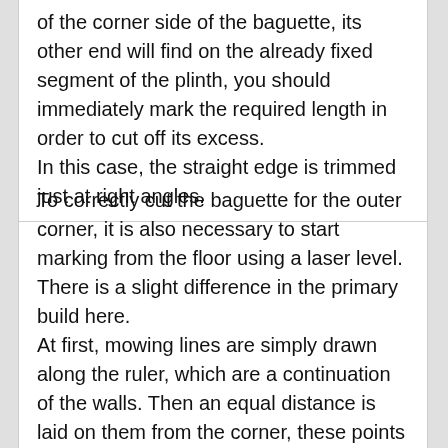of the corner side of the baguette, its other end will find on the already fixed segment of the plinth, you should immediately mark the required length in order to cut off its excess.
In this case, the straight edge is trimmed just at right angles.
To correctly cut the baguette for the outer corner, it is also necessary to start marking from the floor using a laser level.
There is a slight difference in the primary build here.
At first, mowing lines are simply drawn along the ruler, which are a continuation of the walls. Then an equal distance is laid on them from the corner, these points are connected by a diagonal, on which the center is determined.
The beam is directed through this mark to the protruding angle, also with the projection of this